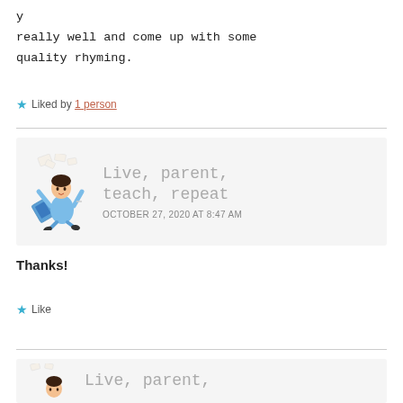really well and come up with some quality rhyming.
★ Liked by 1 person
[Figure (illustration): Comment card with cartoon avatar of person throwing papers, blog name 'Live, parent, teach, repeat' and date 'OCTOBER 27, 2020 AT 8:47 AM']
Thanks!
★ Like
[Figure (illustration): Partial comment card with cartoon avatar and blog name 'Live, parent,' partially visible]